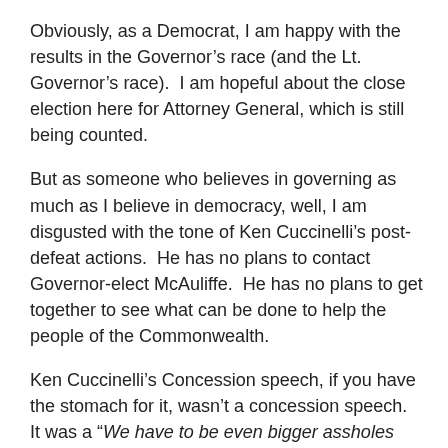Obviously, as a Democrat, I am happy with the results in the Governor’s race (and the Lt. Governor’s race).  I am hopeful about the close election here for Attorney General, which is still being counted.
But as someone who believes in governing as much as I believe in democracy, well, I am disgusted with the tone of Ken Cuccinelli’s post-defeat actions.  He has no plans to contact Governor-elect McAuliffe.  He has no plans to get together to see what can be done to help the people of the Commonwealth.
Ken Cuccinelli’s Concession speech, if you have the stomach for it, wasn’t a concession speech.  It was a “We have to be even bigger assholes and THEN we’ll win” speech.  It is scary to think that these fanatics still claim a